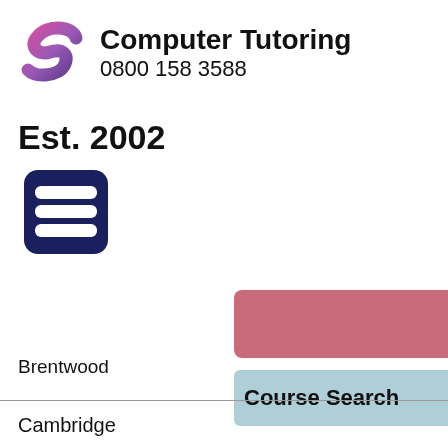[Figure (logo): Computer Tutoring logo with stylized S shape in pink and purple, next to company name and phone number]
Est. 2002
[Figure (other): Dark navy blue hamburger menu icon (three horizontal bars) with rounded rectangle border]
[Figure (other): Pink/rose colored rectangular bar, partially visible, on the right side]
Course Search
Brentwood
Cambridge